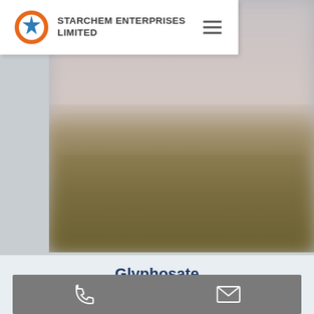[Figure (logo): Starchem Enterprises Limited logo: orange crescent circle with blue star, company name text]
[Figure (photo): Blurred outdoor landscape photo with olive/brown ground and misty pale sky, used as hero banner image]
Glyphosate Surfactant  0810-A
[Figure (infographic): Gray action bar with phone icon and email envelope icon for contact options]